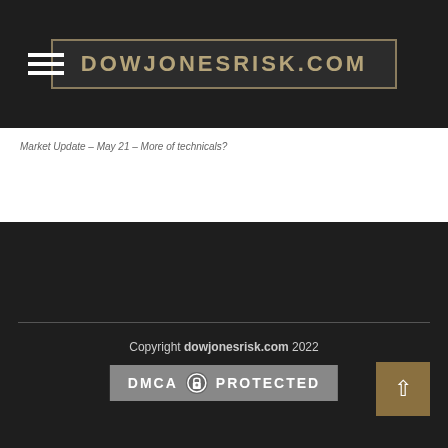DOWJONESRISK.COM
Market Update – May 21 – More of technicals?
Copyright dowjonesrisk.com 2022
[Figure (logo): DMCA PROTECTED badge with lock icon]
[Figure (other): Up arrow scroll-to-top button in gold/olive color]